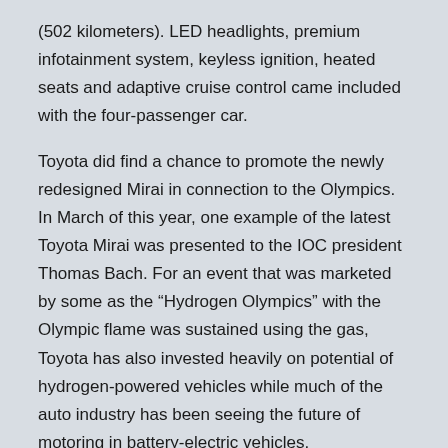(502 kilometers). LED headlights, premium infotainment system, keyless ignition, heated seats and adaptive cruise control came included with the four-passenger car.
Toyota did find a chance to promote the newly redesigned Mirai in connection to the Olympics. In March of this year, one example of the latest Toyota Mirai was presented to the IOC president Thomas Bach. For an event that was marketed by some as the “Hydrogen Olympics” with the Olympic flame was sustained using the gas, Toyota has also invested heavily on potential of hydrogen-powered vehicles while much of the auto industry has been seeing the future of motoring in battery-electric vehicles.
Toyota’s Battery-Electric Personal Mobility